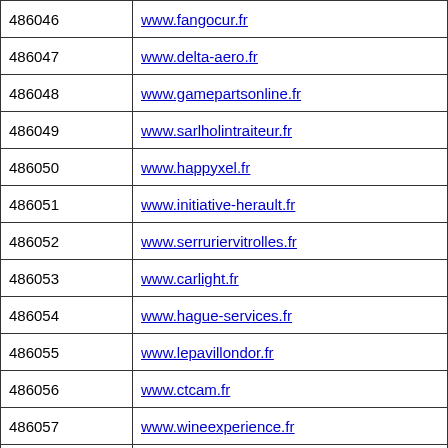| 486046 | www.fangocur.fr |
| 486047 | www.delta-aero.fr |
| 486048 | www.gamepartsonline.fr |
| 486049 | www.sarlholintraiteur.fr |
| 486050 | www.happyxel.fr |
| 486051 | www.initiative-herault.fr |
| 486052 | www.serruriervitrolles.fr |
| 486053 | www.carlight.fr |
| 486054 | www.hague-services.fr |
| 486055 | www.lepavillondor.fr |
| 486056 | www.ctcam.fr |
| 486057 | www.wineexperience.fr |
| 486058 | www.42infinite.fr |
| 486059 | www.touran.fr |
| 486060 | www.corbe-cuisine-pro.fr |
| 486061 | www.baitarnam.fr |